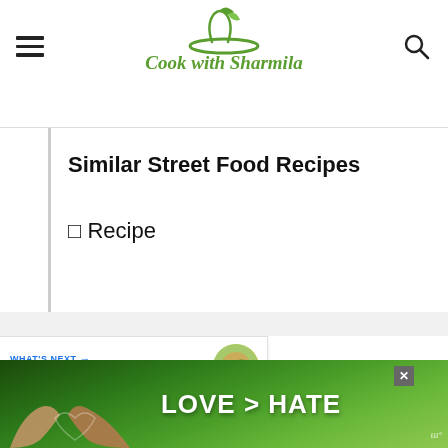Cook with Sharmila
Similar Street Food Recipes
□ Recipe
[Figure (screenshot): Like/share sidebar with heart button showing 23 likes and share icon]
[Figure (infographic): What's Next promotional bar showing Sukha puri with food image]
[Figure (infographic): Ad banner showing LOVE > HATE text over nature background]